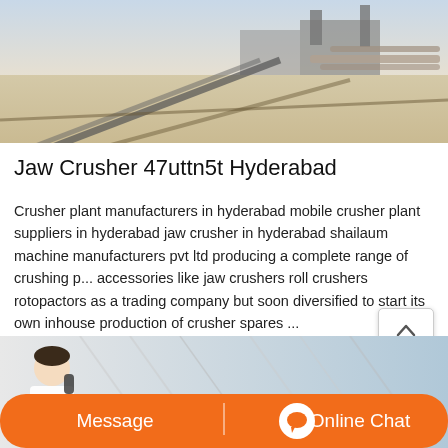[Figure (photo): Outdoor industrial site with sandy/dusty ground, conveyor belts and industrial equipment/pipes in the background under a clear sky]
Jaw Crusher 47uttn5t Hyderabad
Crusher plant manufacturers in hyderabad mobile crusher plant suppliers in hyderabad jaw crusher in hyderabad shailaum machine manufacturers pvt ltd producing a complete range of crushing p... accessories like jaw crushers roll crushers rotopactors as a trading company but soon diversified to start its own inhouse production of crusher spares ...
[Figure (photo): Bottom banner with a customer service representative on the phone, an orange bar with Message and Online Chat buttons]